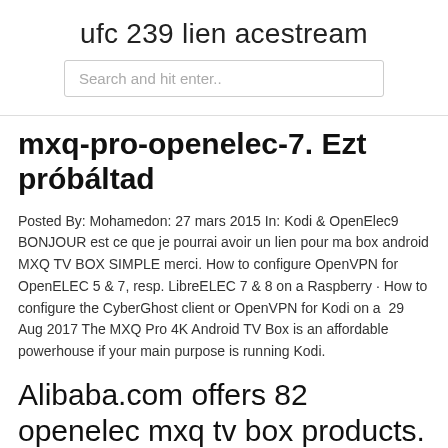ufc 239 lien acestream
Search and hit enter..
mxq-pro-openelec-7. Ezt próbáltad
Posted By: Mohamedon: 27 mars 2015 In: Kodi & OpenElec9 BONJOUR est ce que je pourrai avoir un lien pour ma box android MXQ TV BOX SIMPLE merci. How to configure OpenVPN for OpenELEC 5 & 7, resp. LibreELEC 7 & 8 on a Raspberry · How to configure the CyberGhost client or OpenVPN for Kodi on a  29 Aug 2017 The MXQ Pro 4K Android TV Box is an affordable powerhouse if your main purpose is running Kodi.
Alibaba.com offers 82 openelec mxq tv box products. About 2% of these are set top box. A wide variety of openelec mxq tv box